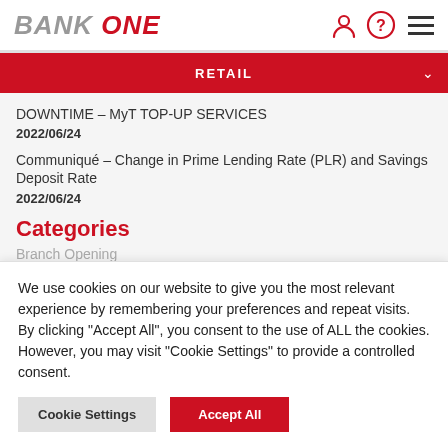BANK ONE
RETAIL
DOWNTIME – MyT TOP-UP SERVICES
2022/06/24
Communiqué – Change in Prime Lending Rate (PLR) and Savings Deposit Rate
2022/06/24
Categories
Branch Opening
We use cookies on our website to give you the most relevant experience by remembering your preferences and repeat visits. By clicking "Accept All", you consent to the use of ALL the cookies. However, you may visit "Cookie Settings" to provide a controlled consent.